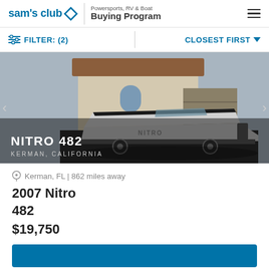sam's club — Powersports, RV & Boat Buying Program
FILTER: (2)
CLOSEST FIRST
[Figure (photo): Photo of a Nitro 482 bass boat parked in front of a house with garage. Overlay text reads NITRO 482 and KERMAN, CALIFORNIA.]
Kerman, FL | 862 miles away
2007 Nitro
482
$19,750